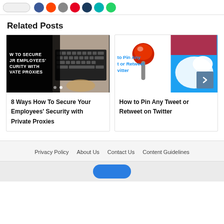[Figure (illustration): Social sharing icons row: white button, blue Facebook, orange Reddit, grey Email, red Pinterest, dark blue unknown, teal unknown, green WhatsApp circles]
Related Posts
[Figure (illustration): Blog post card: dark image with text 'HOW TO SECURE YOUR EMPLOYEES SECURITY WITH PRIVATE PROXIES' overlaid on laptop keyboard photo, with two carousel dots]
8 Ways How To Secure Your Employees' Security with Private Proxies
[Figure (illustration): Blog post card: red pushpin and Twitter logo on blue background, partially visible, with arrow navigation button]
How to Pin Any Tweet or Retweet on Twitter
Privacy Policy   About Us   Contact Us   Content Guidelines